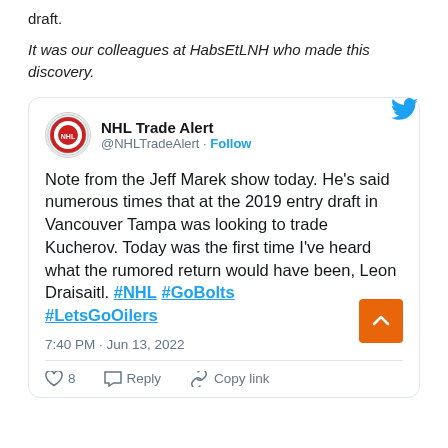draft.
It was our colleagues at HabsEtLNH who made this discovery.
[Figure (screenshot): Embedded tweet from @NHLTradeAlert: 'Note from the Jeff Marek show today. He's said numerous times that at the 2019 entry draft in Vancouver Tampa was looking to trade Kucherov. Today was the first time I've heard what the rumored return would have been, Leon Draisaitl. #NHL #GoBolts #LetsGoOilers' posted at 7:40 PM · Jun 13, 2022, with 8 likes, Reply, and Copy link actions.]